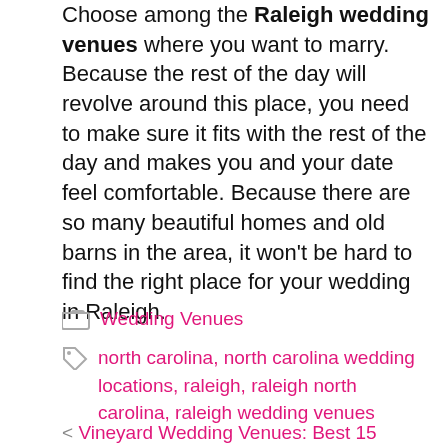Choose among the Raleigh wedding venues where you want to marry. Because the rest of the day will revolve around this place, you need to make sure it fits with the rest of the day and makes you and your date feel comfortable. Because there are so many beautiful homes and old barns in the area, it won't be hard to find the right place for your wedding in Raleigh.
Category: Wedding Venues
Tags: north carolina, north carolina wedding locations, raleigh, raleigh north carolina, raleigh wedding venues
< Vineyard Wedding Venues: Best 15 Winery Wedding Venues